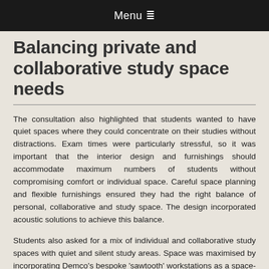Menu ≡
Balancing private and collaborative study space needs
The consultation also highlighted that students wanted to have quiet spaces where they could concentrate on their studies without distractions. Exam times were particularly stressful, so it was important that the interior design and furnishings should accommodate maximum numbers of students without compromising comfort or individual space. Careful space planning and flexible furnishings ensured they had the right balance of personal, collaborative and study space. The design incorporated acoustic solutions to achieve this balance.
Students also asked for a mix of individual and collaborative study spaces with quiet and silent study areas. Space was maximised by incorporating Demco's bespoke 'sawtooth' workstations as a space-saving alternative to standard workstations at the conventional positioning to d...